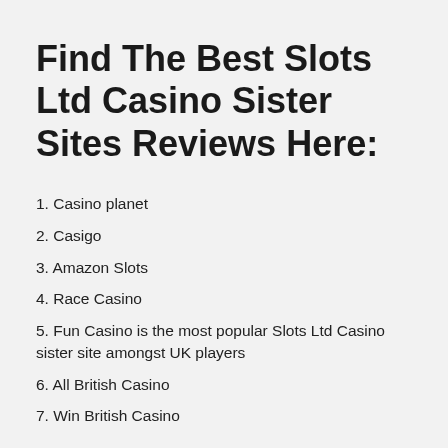Find The Best Slots Ltd Casino Sister Sites Reviews Here:
1. Casino planet
2. Casigo
3. Amazon Slots
4. Race Casino
5. Fun Casino is the most popular Slots Ltd Casino sister site amongst UK players
6. All British Casino
7. Win British Casino